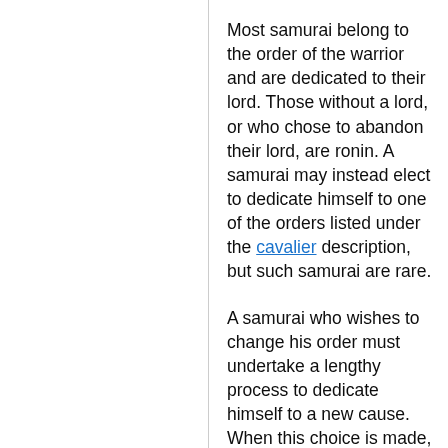Most samurai belong to the order of the warrior and are dedicated to their lord. Those without a lord, or who chose to abandon their lord, are ronin. A samurai may instead elect to dedicate himself to one of the orders listed under the cavalier description, but such samurai are rare.
A samurai who wishes to change his order must undertake a lengthy process to dedicate himself to a new cause. When this choice is made, he immediately loses all of the benefits from his old order. He must then follow the edicts of his new order for one entire level without gaining any